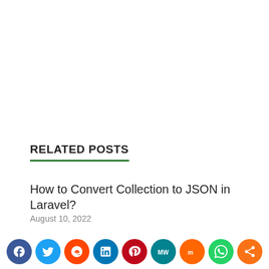RELATED POSTS
How to Convert Collection to JSON in Laravel?
August 10, 2022
Laravel Collection Check If Key Exists
[Figure (other): Social media sharing buttons row: Facebook, Twitter, Reddit, LinkedIn, Pinterest, MeWe, Mix, WhatsApp, Share]